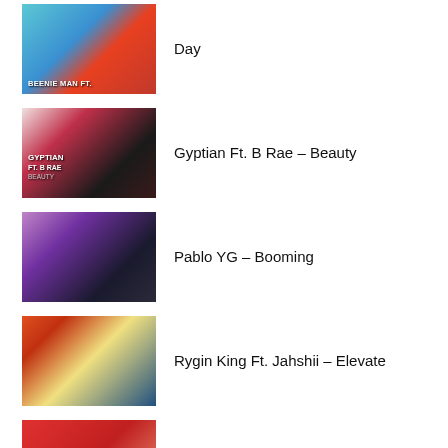[Figure (photo): Thumbnail image for Beenie Man Ft. – Day music entry]
Day
[Figure (photo): Thumbnail image for Gyptian Ft. B Rae – Beauty]
Gyptian Ft. B Rae – Beauty
[Figure (photo): Thumbnail image for Pablo YG – Booming]
Pablo YG – Booming
[Figure (photo): Thumbnail image for Rygin King Ft. Jahshii – Elevate]
Rygin King Ft. Jahshii – Elevate
[Figure (photo): Thumbnail image for Chronic Law – Dream Rich Lifestyle]
Chronic Law – Dream Rich Lifestyle